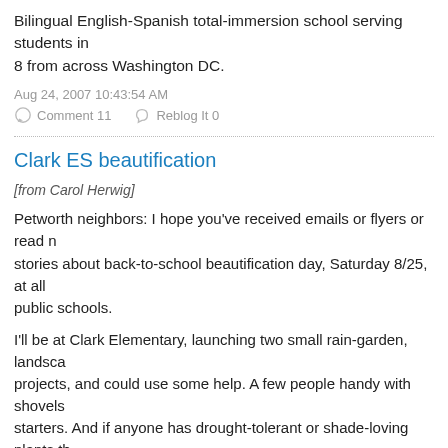Bilingual English-Spanish total-immersion school serving students in 8 from across Washington DC.
Aug 24, 2007 10:43:54 AM
Comment 11   Reblog It 0
Clark ES beautification
[from Carol Herwig]
Petworth neighbors: I hope you've received emails or flyers or read n stories about back-to-school beautification day, Saturday 8/25, at all public schools.
I'll be at Clark Elementary, launching two small rain-garden, landsca projects, and could use some help. A few people handy with shovels starters. And if anyone has drought-tolerant or shade-loving plants th to get rid off, please let me know. We have room for both. I'll be at Cl and Allison) from about 8am to noon Saturday.
I hope everybody has been checking out the new football/soccer fiel track at Roosevelt. It almost makes me want to start jogging.